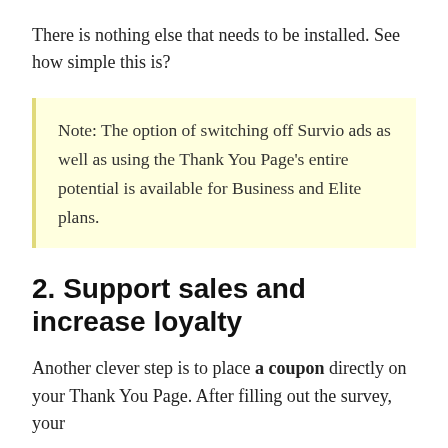There is nothing else that needs to be installed. See how simple this is?
Note: The option of switching off Survio ads as well as using the Thank You Page’s entire potential is available for Business and Elite plans.
2. Support sales and increase loyalty
Another clever step is to place a coupon directly on your Thank You Page. After filling out the survey, your